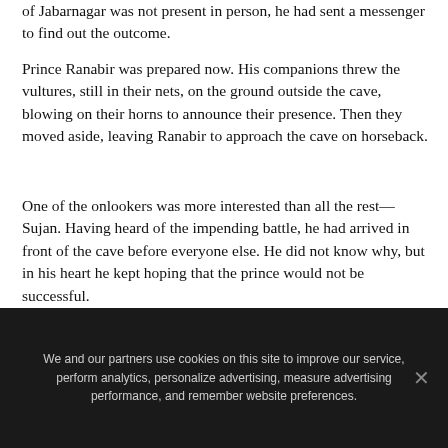of Jabarnagar was not present in person, he had sent a messenger to find out the outcome.
Prince Ranabir was prepared now. His companions threw the vultures, still in their nets, on the ground outside the cave, blowing on their horns to announce their presence. Then they moved aside, leaving Ranabir to approach the cave on horseback.
One of the onlookers was more interested than all the rest—Sujan. Having heard of the impending battle, he had arrived in front of the cave before everyone else. He did not know why, but in his heart he kept hoping that the prince would not be successful.
We and our partners use cookies on this site to improve our service, perform analytics, personalize advertising, measure advertising performance, and remember website preferences.